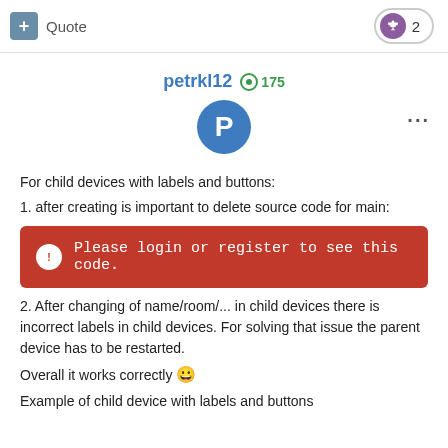Quote | 2
petrkl12 ● 175
For child devices with labels and buttons:
1. after creating is important to delete source code for main:
Please login or register to see this code.
2. After changing of name/room/... in child devices there is incorrect labels in child devices. For solving that issue the parent device has to be restarted.
Overall it works correctly 😀
Example of child device with labels and buttons